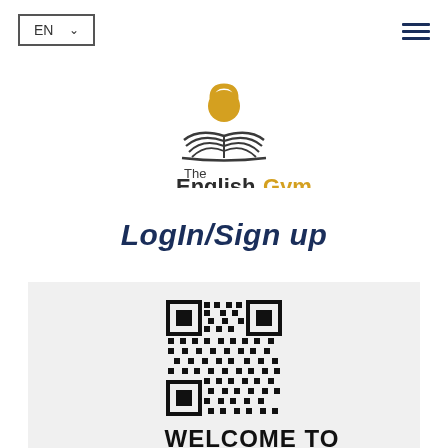EN ▾  ☰
[Figure (logo): The English Gym logo — open book with kettlebell on top, text 'The English Gym' with 'Gym' in gold]
LogIn/Sign up
[Figure (other): QR code for The English Gym website]
WELCOME TO THE ENGLISH GYM!